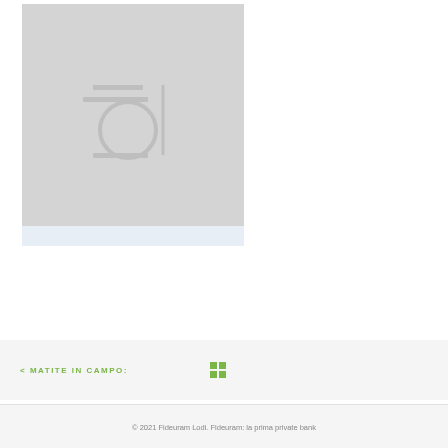[Figure (illustration): Placeholder image card with a light gray background showing a stylized icon with horizontal lines, a circular element, and a vertical line — a generic image placeholder]
< MATITE IN CAMPO:
[Figure (other): Grid/menu icon made of four green squares in a 2x2 arrangement]
© 2021 Fideuram Lodi. Fideuram: la prima private bank